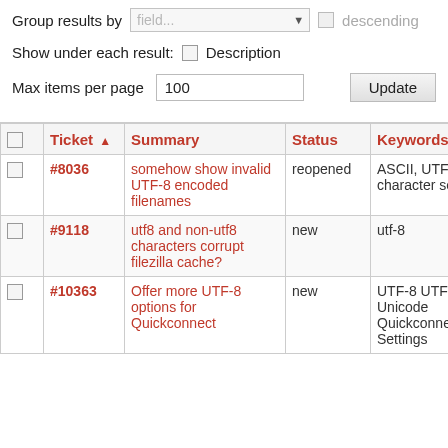Group results by field... descending
Show under each result: Description
Max items per page 100
|  | Ticket ▲ | Summary | Status | Keywords | Ov |
| --- | --- | --- | --- | --- | --- |
|  | #8036 | somehow show invalid UTF-8 encoded filenames | reopened | ASCII, UTF-8, character set |  |
|  | #9118 | utf8 and non-utf8 characters corrupt filezilla cache? | new | utf-8 |  |
|  | #10363 | Offer more UTF-8 options for Quickconnect | new | UTF-8 UTF8 Unicode Quickconnect Settings | W 7 Ul 32 |